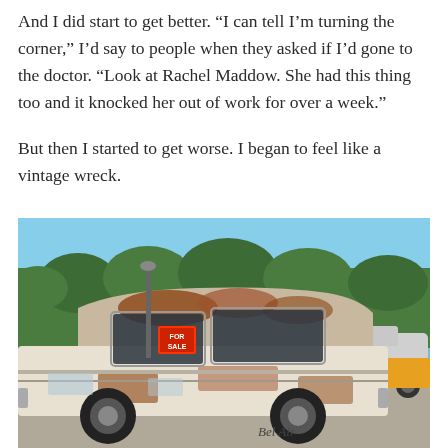And I did start to get better. “I can tell I’m turning the corner,” I’d say to people when they asked if I’d gone to the doctor. “Look at Rachel Maddow. She had this thing too and it knocked her out of work for over a week.”
But then I started to get worse. I began to feel like a vintage wreck.
[Figure (photo): A rusted, worn vintage Chevrolet Bel Air car with a 'For Sale' sign in the window, parked in a sunny parking lot surrounded by trees and other cars.]